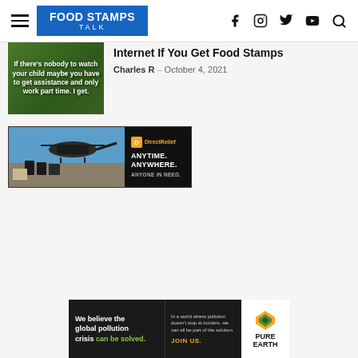FOOD STAMPS TALK
[Figure (screenshot): Article thumbnail with green background and text: If there's nobody to watch your child maybe you have to get assistance and only work part time. I get.]
Internet If You Get Food Stamps
Charles R  -  October 4, 2021
[Figure (photo): DirectRelief ad banner: helicopter loading cargo on left side, black right panel with DirectRelief logo and text ANYTIME. ANYWHERE. ANYONE IN NEED.]
[Figure (infographic): Pure Earth ad banner: black left section with text 'We believe the global pollution crisis can be solved.' Center section with small text about pollution and JOIN US. Right white section with Pure Earth logo diamond shape and PURE EARTH text.]